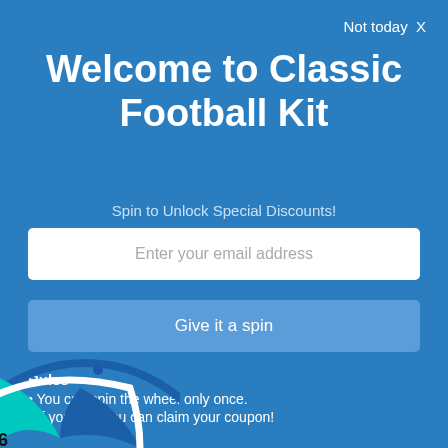Not today  X
Welcome to Classic Football Kit
Spin to Unlock Special Discounts!
Enter your email address
Give it a spin
Rules
You can spin the wheel only once.
If you win, you can claim your coupon!
[Figure (other): Partial spin wheel visible at bottom left corner with teal and blue segments]